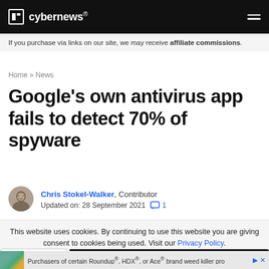cybernews®
If you purchase via links on our site, we may receive affiliate commissions.
Home » News
Google's own antivirus app fails to detect 70% of spyware
Chris Stokel-Walker, Contributor
Updated on: 28 September 2021   💬 1
This website uses cookies. By continuing to use this website you are giving consent to cookies being used. Visit our Privacy Policy.
I Agree
Purchasers of certain Roundup®, HDX®, or Ace® brand weed killer pro